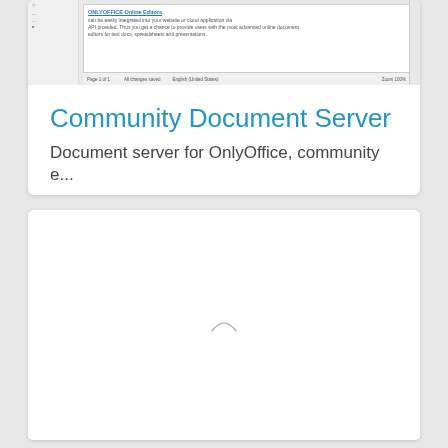[Figure (screenshot): Screenshot of ONLYOFFICE Online Editors document interface showing a text editor with blue link text and document content, with a status bar at the bottom showing page count, save status, language, and zoom level.]
Community Document Server
Document server for OnlyOffice, community e...
[Figure (other): Empty white card with a loading spinner arc in the center, indicating content is loading.]